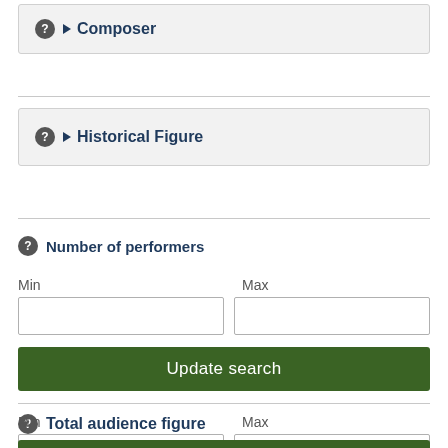▶ Composer
▶ Historical Figure
Number of performers
Min
Max
Update search
Total audience figure
Min
Max